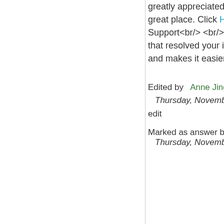greatly appreciated if you have time. Thanks for helping make community forums a great place. Click HERE to participate the survey. Thanks<br/> MSDN Community Support<br/> <br/> Please remember to &quot;Mark as Answer&quot; the responses that resolved your issue. It is a common way to recognize those who have helped you, and makes it easier for other visitors to find the resolution later.
Edited by   Anne Jing   Thursday, November 14, 2013 3:51 AM
edit
Marked as answer by   Dexter Dengler   Thursday, November 14, 2013 1:08